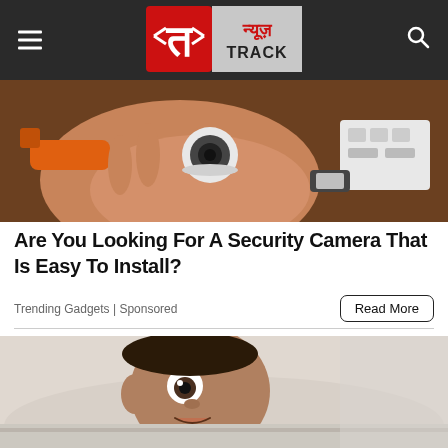न्यूज़ Track — navigation header with hamburger menu and search icon
[Figure (photo): A hand holding a small dome security camera, with orange tool and circuit board visible in background]
Are You Looking For A Security Camera That Is Easy To Install?
Trending Gadgets | Sponsored
Read More
[Figure (photo): A man lying in bed with a wide-eyed startled expression, looking surprised or scared]